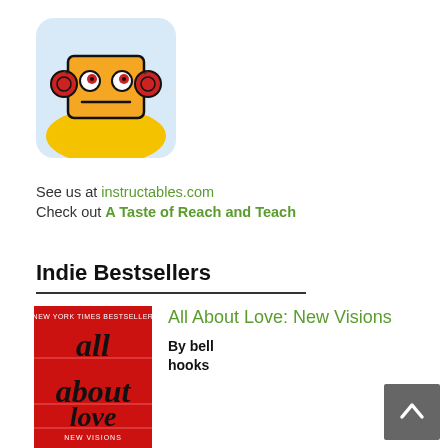[Figure (illustration): Instructables robot logo: cartoon robot with a cardboard box head, red circular eyes/ears, on a yellow mound, with light blue rounded-rectangle background]
See us at instructables.com
Check out A Taste of Reach and Teach
Indie Bestsellers
[Figure (photo): Book cover of 'All About Love: New Visions' by bell hooks — red cover with italic black text reading 'all about love' and 'NEW VISIONS' with author name at bottom]
All About Love: New Visions
By bell hooks